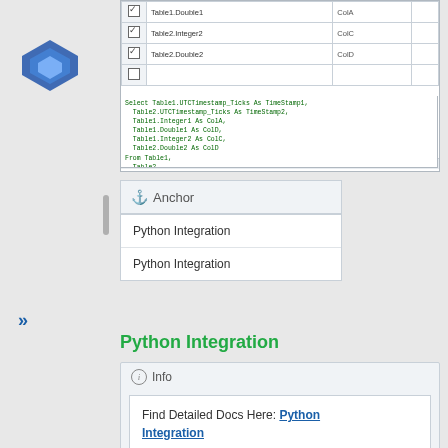[Figure (screenshot): Database table configuration UI showing rows with checkboxes, Table2.Integer2 mapped to ColC and Table2.Double2 mapped to ColD]
[Figure (screenshot): SQL code block with SELECT statement joining Table1 and Table2 on UTCTimestamp_Ticks, ordering by TimeStamp1 desc, limit 3, 100]
[Figure (other): Navigation anchor box with anchor icon labeled Anchor, containing two links: Python Integration and Python Integration]
Python Integration
[Figure (other): Info admonition box with content: Find Detailed Docs Here: Python Integration (link)]